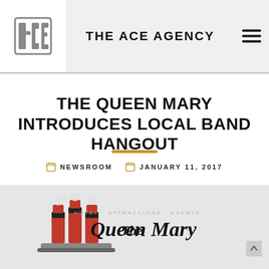THE ACE AGENCY
THE QUEEN MARY INTRODUCES LOCAL BAND HANGOUT
NEWSROOM  JANUARY 11, 2017
[Figure (logo): The Queen Mary logo with ship illustration and text 'HOTEL · ATTRACTIONS · EVENTS / The Queen Mary']